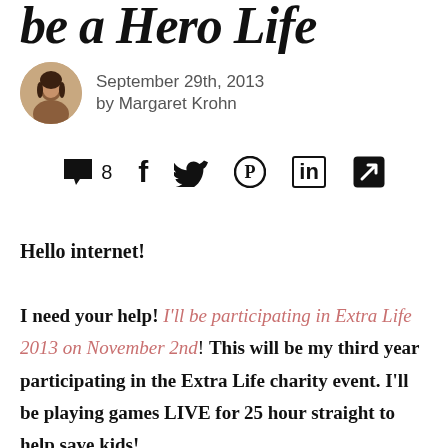be a Hero Life
September 29th, 2013
by Margaret Krohn
[Figure (infographic): Social sharing icons row: speech bubble with comment count 8, Facebook f, Twitter bird, Pinterest circle, LinkedIn in, external link arrow]
Hello internet!
I need your help! I'll be participating in Extra Life 2013 on November 2nd! This will be my third year participating in the Extra Life charity event. I'll be playing games LIVE for 25 hour straight to help save kids!